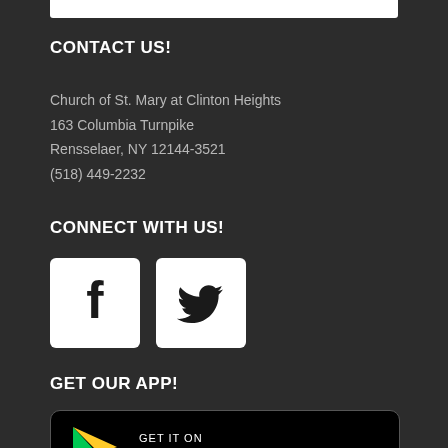CONTACT US!
Church of St. Mary at Clinton Heights
163 Columbia Turnpike
Rensselaer, NY 12144-3521
(518) 449-2232
CONNECT WITH US!
[Figure (logo): Facebook and Twitter social media icon buttons (white square boxes with black logos)]
GET OUR APP!
[Figure (logo): Google Play Store badge showing GET IT ON Google Pl... with colorful play triangle icon on black background]